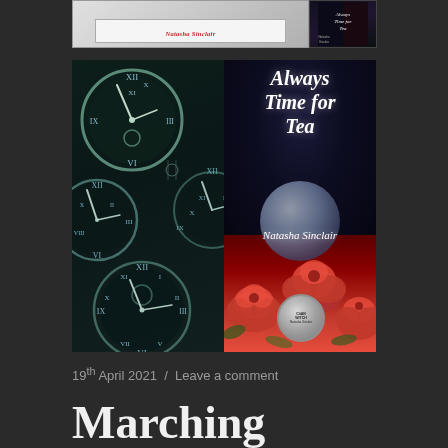[Figure (photo): Top partial book cover strip showing 'Natasha Sinclair' text on a light grey/white background on the left, and a small dark book cover thumbnail on the right]
[Figure (photo): Book cover for 'Always Time for Tea' by Natasha Sinclair. Left half shows antique clocks on dark teal/green background. Right half has dark navy top with cursive white title text 'Always Time for Tea', a moon graphic, author name 'Natasha Sinclair' in cursive, and red roses at the bottom with a small circular badge.]
19th April 2021  /  Leave a comment
Marching